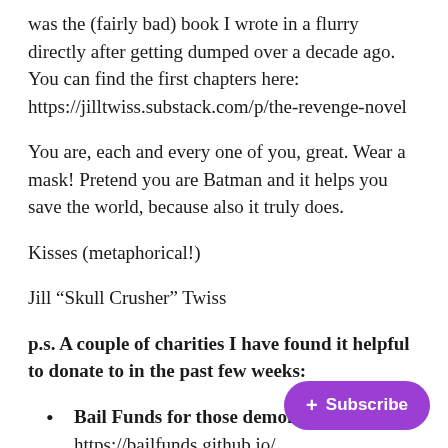was the (fairly bad) book I wrote in a flurry directly after getting dumped over a decade ago. You can find the first chapters here: https://jilltwiss.substack.com/p/the-revenge-novel
You are, each and every one of you, great. Wear a mask! Pretend you are Batman and it helps you save the world, because also it truly does.
Kisses (metaphorical!)
Jill “Skull Crusher” Twiss
p.s. A couple of charities I have found it helpful to donate to in the past few weeks:
Bail Funds for those demons... https://bailfunds.github.io/